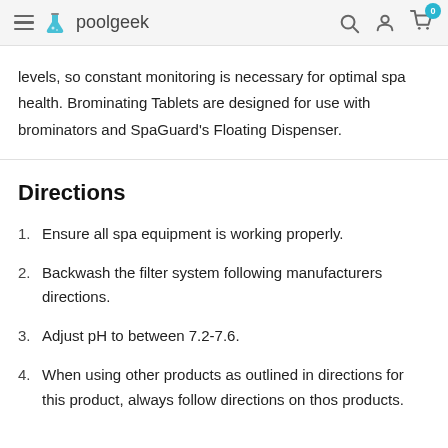poolgeek
levels, so constant monitoring is necessary for optimal spa health. Brominating Tablets are designed for use with brominators and SpaGuard's Floating Dispenser.
Directions
1. Ensure all spa equipment is working properly.
2. Backwash the filter system following manufacturers directions.
3. Adjust pH to between 7.2-7.6.
4. When using other products as outlined in directions for this product, always follow directions on thos products.